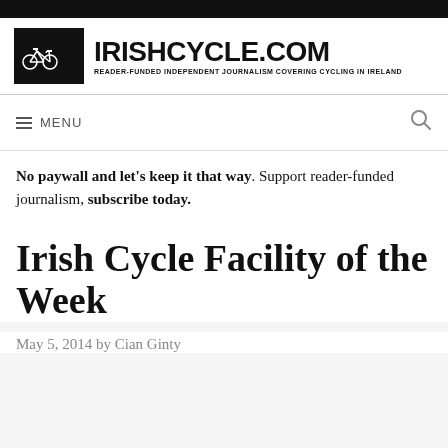IRISHCYCLE.COM — READER-FUNDED INDEPENDENT JOURNALISM COVERING CYCLING IN IRELAND
MENU
No paywall and let's keep it that way. Support reader-funded journalism, subscribe today.
Irish Cycle Facility of the Week
May 5, 2014 by Cian Ginty